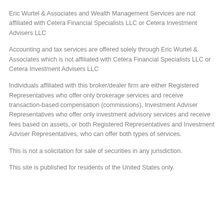Eric Wurtel & Associates and Wealth Management Services are not affiliated with Cetera Financial Specialists LLC or Cetera Investment Advisers LLC
Accounting and tax services are offered solely through Eric Wurtel & Associates which is not affiliated with Cetera Financial Specialists LLC or Cetera Investment Advisers LLC
Individuals affiliated with this broker/dealer firm are either Registered Representatives who offer only brokerage services and receive transaction-based compensation (commissions), Investment Adviser Representatives who offer only investment advisory services and receive fees based on assets, or both Registered Representatives and Investment Adviser Representatives, who can offer both types of services.
This is not a solicitation for sale of securities in any jurisdiction.
This site is published for residents of the United States only.